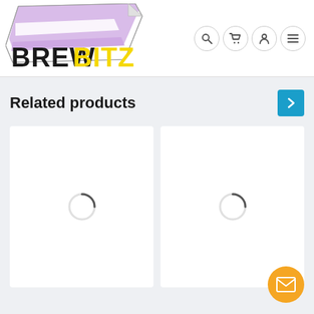[Figure (logo): BrewBitz logo with stylized text and beer/brewing graphic above with purple and white colors]
[Figure (other): Navigation icons: search (magnifying glass), cart, user profile, and hamburger menu, each in a circular border]
Related products
[Figure (other): Next/right arrow navigation button (teal/blue square with white chevron)]
[Figure (other): Product card 1 with loading spinner]
[Figure (other): Product card 2 with loading spinner]
[Figure (other): Orange circular email/contact button with envelope icon in bottom right]